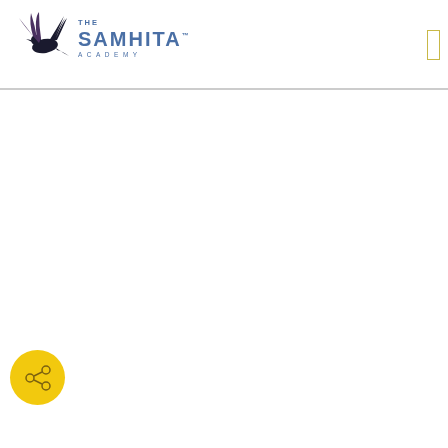[Figure (logo): The Samhita Academy logo featuring a black bird (crow/raven) silhouette flying above the text 'THE SAMHITA™ ACADEMY' in blue lettering]
[Figure (other): Yellow rectangle/button outline on the right side of the header area]
[Figure (other): Yellow circular share/network icon button in the lower left area of the page]